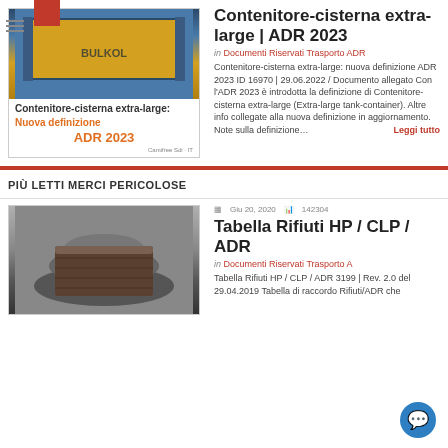[Figure (photo): Left card with photo of yellow tank container and text overlay: Contenitore-cisterna extra-large: Nuova definizione ADR 2023]
Contenitore-cisterna extra-large | ADR 2023
in Documenti Riservati Trasporto ADR
Contenitore-cisterna extra-large: nuova definizione ADR 2023 ID 16970 | 29.06.2022 / Documento allegato Con l'ADR 2023 è introdotta la definizione di Contenitore-cisterna extra-large (Extra-large tank-container). Altre info collegate alla nuova definizione in aggiornamento. Note sulla definizione… Leggi tutto
PIÙ LETTI MERCI PERICOLOSE
Giu 20, 2020   142304
Tabella Rifiuti HP / CLP / ADR
in Documenti Riservati Trasporto ADR
Tabella Rifiuti HP / CLP / ADR 3199 | Rev. 2.0 del 29.04.2019 Tabella di raccordo Rifiuti/ADR che